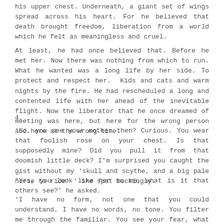his upper chest. Underneath, a giant set of wings spread across his heart. For he believed that death brought freedom, liberation from a world which he felt as meaningless and cruel.
At least, he had once believed that. Before he met her. Now there was nothing from which to run. What he wanted was a long life by her side. To protect and respect her. Kids and cats and warm nights by the fire. He had rescheduled a long and contented life with her ahead of the inevitable flight. Now the liberator that he once dreamed of meeting was here, but here for the wrong person and here at the wrong time.
4.
'So, you see your mother then? Curious. You wear that foolish rose on your chest. Is that supposedly mine? Did you pull it from that doomish little deck? I'm surprised you caught the gist without my 'skull and scythe, and a big pale horse to ride' ' she spat mockingly.
'Yes, you look like her to me, what is it that others see?' he asked.
'I have no form, not one that you could understand. I have no words, no tone. You filter me through the familiar. You see your fear, what you hear is your interpretation. Anyone can do it, within reason, but your kind has long given up on seeking the speechless. Only as I drag them